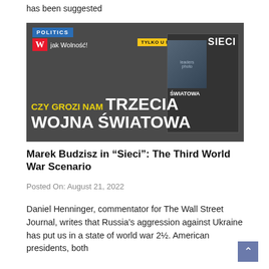has been suggested
[Figure (photo): Magazine cover of 'Sieci' showing the Polish headline 'Czy Grozi Nam Trzecia Wojna Swiatowa' (Does the Third World War Threaten Us) with a photo of world leaders on the magazine cover, displayed against a dark background, with a 'POLITICS' badge and 'W jak Wolnosc' logo at top.]
Marek Budzisz in “Sieci”: The Third World War Scenario
Posted On: August 21, 2022
Daniel Henninger, commentator for The Wall Street Journal, writes that Russia’s aggression against Ukraine has put us in a state of world war 2½. American presidents, both